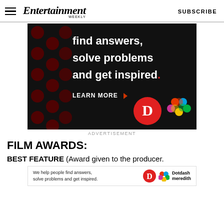Entertainment Weekly  SUBSCRIBE
[Figure (photo): Dark advertisement with red polka dots and white bold text reading 'find answers, solve problems and get inspired.' with LEARN MORE button and Dotdash/Meredith logos]
ADVERTISEMENT
FILM AWARDS:
BEST FEATURE (Award given to the producer.
[Figure (photo): Footer advertisement banner: We help people find answers, solve problems and get inspired. Dotdash meredith logos]